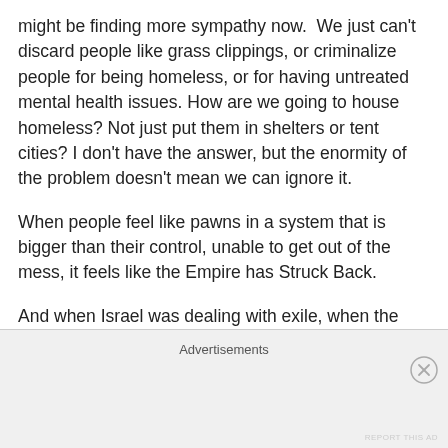might be finding more sympathy now.  We just can't discard people like grass clippings, or criminalize people for being homeless, or for having untreated mental health issues. How are we going to house homeless? Not just put them in shelters or tent cities? I don't have the answer, but the enormity of the problem doesn't mean we can ignore it.
When people feel like pawns in a system that is bigger than their control, unable to get out of the mess, it feels like the Empire has Struck Back.
And when Israel was dealing with exile, when the Empire had struck and carted them off, God said, "comfort,
Advertisements